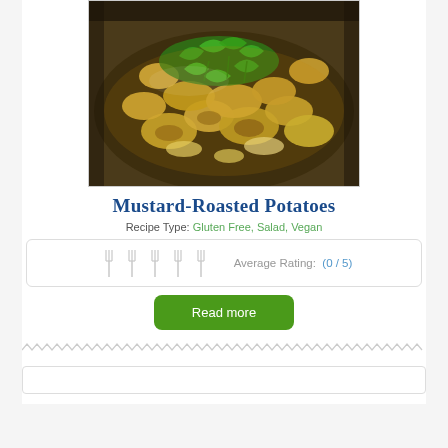[Figure (photo): Close-up photo of mustard-roasted potatoes with herbs (parsley/dill) garnished on top, golden-brown coloring, served in a dish]
Mustard-Roasted Potatoes
Recipe Type: Gluten Free, Salad, Vegan
Average Rating: (0 / 5)
Read more